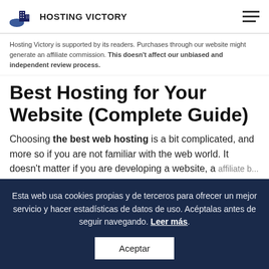HOSTING VICTORY
Hosting Victory is supported by its readers. Purchases through our website might generate an affiliate commission. This doesn't affect our unbiased and independent review process.
Best Hosting for Your Website (Complete Guide)
Choosing the best web hosting is a bit complicated, and more so if you are not familiar with the web world. It doesn't matter if you are developing a website, a
Esta web usa cookies propias y de terceros para ofrecer un mejor servicio y hacer estadísticas de datos de uso. Acéptalas antes de seguir navegando. Leer más. Aceptar